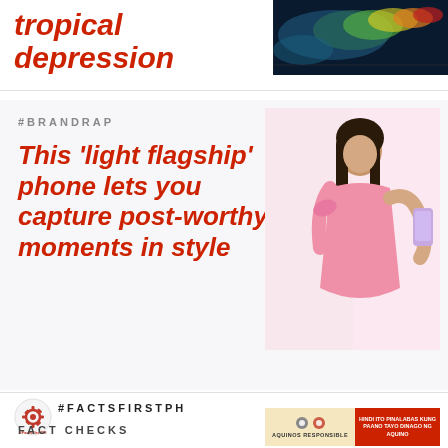tropical depression
[Figure (photo): Weather radar/satellite image showing tropical depression]
#BRANDRAP
This ‘light flagship’ phone lets you capture post-worthy moments in style
[Figure (photo): Young woman in pink dress holding a light purple smartphone]
[Figure (logo): FactsFirstPH logo with gear icon]
#FACTSFIRSTPH
FACT CHECKS
[Figure (screenshot): Fact check image with text AQUINOS RESPONSIBLE and HINDI ITO PINALABAS KUNG PAANO TAYO DINAGO NG AQUINO]